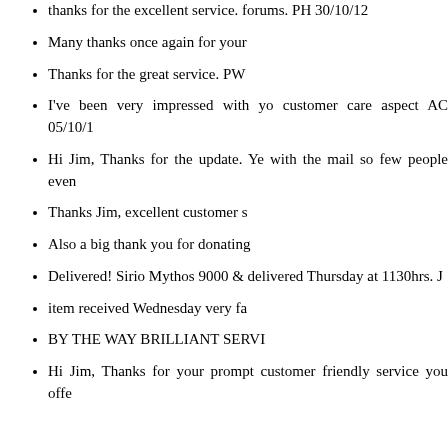thanks for the excellent service. forums. PH 30/10/12
Many thanks once again for your
Thanks for the great service. PW
I've been very impressed with yo customer care aspect AC 05/10/1
Hi Jim, Thanks for the update. Ye with the mail so few people even
Thanks Jim, excellent customer s
Also a big thank you for donating
Delivered! Sirio Mythos 9000 & delivered Thursday at 1130hrs. J
item received Wednesday very fa
BY THE WAY BRILLIANT SERVI
Hi Jim, Thanks for your prompt customer friendly service you offe